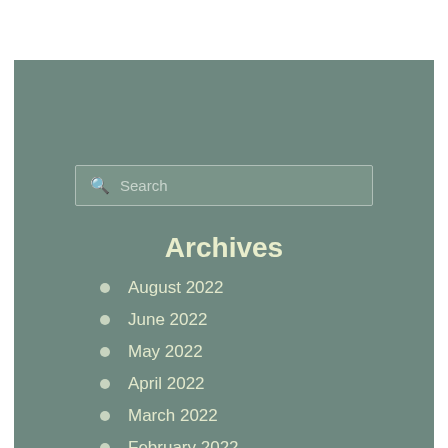Search
Archives
August 2022
June 2022
May 2022
April 2022
March 2022
February 2022